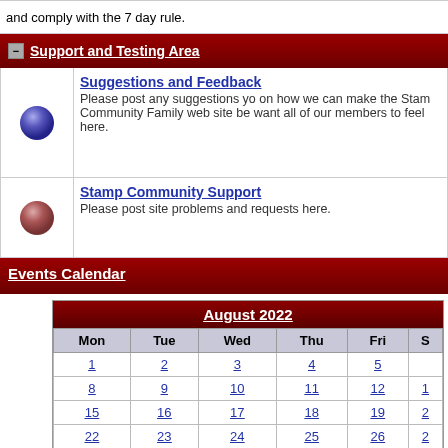and comply with the 7 day rule.
- Support and Testing Area
Suggestions and Feedback
Please post any suggestions you on how we can make the Stamp Community Family web site be want all of our members to feel here.
Stamp Community Support
Please post site problems and requests here.
Events Calendar
| Mon | Tue | Wed | Thu | Fri | S |
| --- | --- | --- | --- | --- | --- |
| 1 | 2 | 3 | 4 | 5 |  |
| 8 | 9 | 10 | 11 | 12 | 1 |
| 15 | 16 | 17 | 18 | 19 | 2 |
| 22 | 23 | 24 | 25 | 26 | 2 |
| 29 | 30 | 31 |  |  |  |